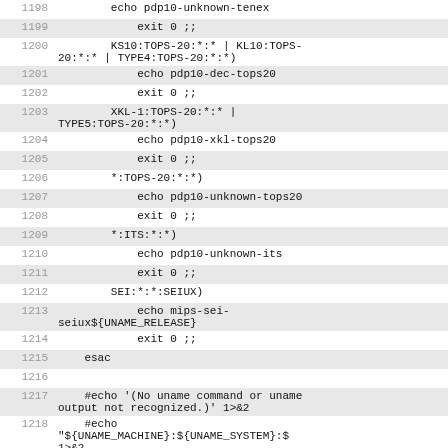[Figure (screenshot): Source code listing showing lines 1198-1220 of a shell script with line numbers and alternating shaded rows. Content includes case statement patterns for system detection (TOPS-20, ITS, SEIUX), echo commands, exit statements, and variable references.]